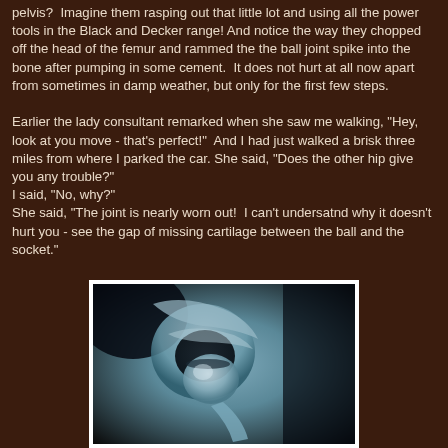pelvis?  Imagine them rasping out that little lot and using all the power tools in the Black and Decker range! And notice the way they chopped off the head of the femur and rammed the the ball joint spike into the bone after pumping in some cement.  It does not hurt at all now apart from sometimes in damp weather, but only for the first few steps.

Earlier the lady consultant remarked when she saw me walking, "Hey, look at you move - that's perfect!"  And I had just walked a brisk three miles from where I parked the car. She said, "Does the other hip give you any trouble?" I said, "No, why?" She said, "The joint is nearly worn out!  I can't undersatnd why it doesn't hurt you - see the gap of missing cartilage between the ball and the socket."
[Figure (photo): X-ray image of a hip joint showing a ball and socket, with visible gap indicating missing cartilage between the ball and socket.]